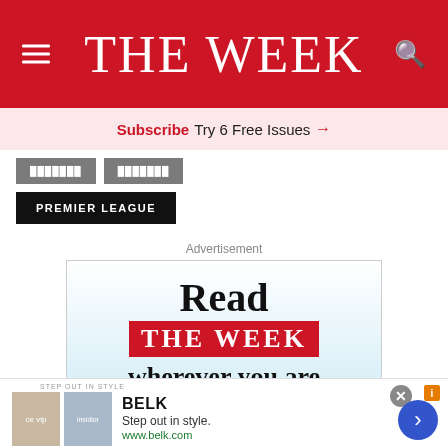THE WEEK
Subscribe Try 6 Free Issues →
PREMIER LEAGUE
Advertisement
[Figure (illustration): The Week magazine advertisement: 'Read THE WEEK wherever you are in the world' with gradient blue-white background]
[Figure (illustration): Belk advertisement banner: Step out in style. www.belk.com with two fashion images]